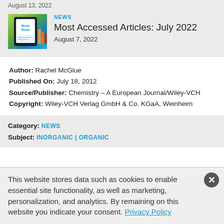August 13, 2022
[Figure (photo): Tablet showing 'Most Read' text on screen, with books/shelves in background]
NEWS
Most Accessed Articles: July 2022
August 7, 2022
Author: Rachel McGlue
Published On: July 18, 2012
Source/Publisher: Chemistry – A European Journal/Wiley-VCH
Copyright: Wiley-VCH Verlag GmbH & Co. KGaA, Weinheim
Category: NEWS
Subject: INORGANIC | ORGANIC
This website stores data such as cookies to enable essential site functionality, as well as marketing, personalization, and analytics. By remaining on this website you indicate your consent. Privacy Policy